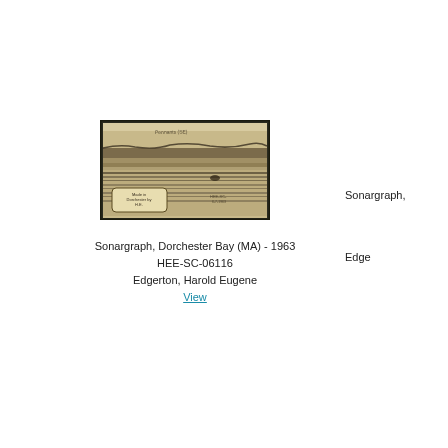[Figure (photo): Sonargraph image of Dorchester Bay showing underwater acoustic scan, with a label box in lower left and handwritten annotations, sepia/grayscale tones, dark border frame.]
Sonargraph, Dorchester Bay (MA) - 1963
HEE-SC-06116
Edgerton, Harold Eugene
View
Sonargraph,
Edge